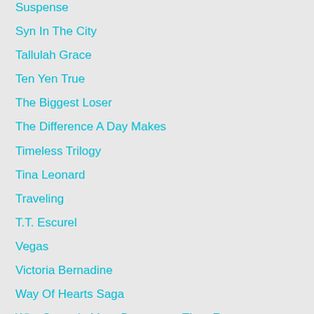Suspense
Syn In The City
Tallulah Grace
Ten Yen True
The Biggest Loser
The Difference A Day Makes
Timeless Trilogy
Tina Leonard
Traveling
T.T. Escurel
Vegas
Victoria Bernadine
Way Of Hearts Saga
Why Sugar Is More Dangerous Than Fat
William Auch
Witch
With Murderous Intent
Women's Fiction
Wounded Hearts
Young Adult